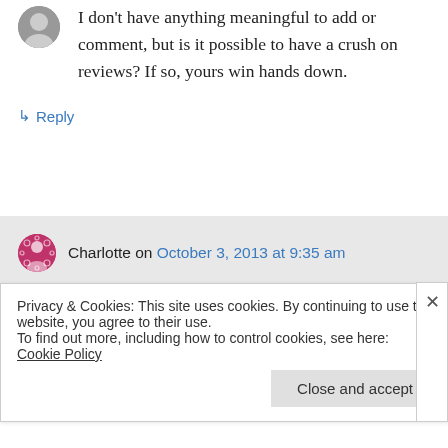[Figure (photo): User avatar, partially visible at top left]
I don't have anything meaningful to add or comment, but is it possible to have a crush on reviews? If so, yours win hands down.
↳ Reply
Charlotte on October 3, 2013 at 9:35 am
I agree with Lindsay! Your reviews are the best ones I have found so far (for other
Privacy & Cookies: This site uses cookies. By continuing to use this website, you agree to their use.
To find out more, including how to control cookies, see here: Cookie Policy
Close and accept